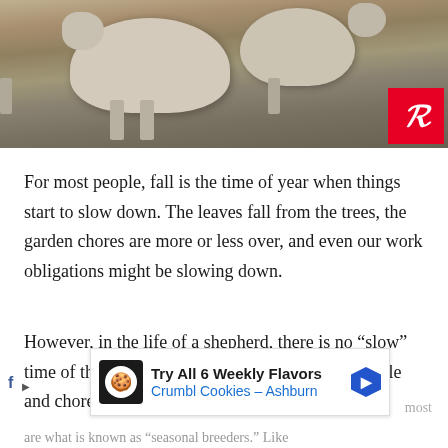[Figure (photo): Photograph of sheep grazing in a dry grassy field, with a Pinterest share button (red square with white P icon) overlaid in the bottom-right corner of the image.]
For most people, fall is the time of year when things start to slow down. The leaves fall from the trees, the garden chores are more or less over, and even our work obligations might be slowing down.
However, in the life of a shepherd, there is no “slow” time of the year. There are still lots of tasks to tackle and chores that need to be done.
[Figure (screenshot): Advertisement banner for Crumbl Cookies - Ashburn reading 'Try All 6 Weekly Flavors' with a cookie logo and blue navigation arrow icon.]
are what is known as “seasonal breeders.” Like